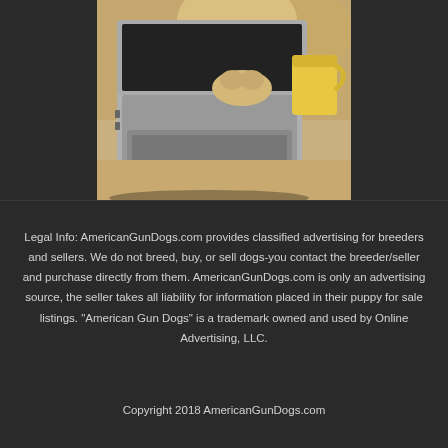[Figure (photo): A dog sitting at a laptop computer on a wooden desk with a yellow cup in the background.]
Legal Info: AmericanGunDogs.com provides classified advertising for breeders and sellers. We do not breed, buy, or sell dogs-you contact the breeder/seller and purchase directly from them. AmericanGunDogs.com is only an advertising source, the seller takes all liability for information placed in their puppy for sale listings. "American Gun Dogs" is a trademark owned and used by Online Advertising, LLC.
Copyright 2018 AmericanGunDogs.com